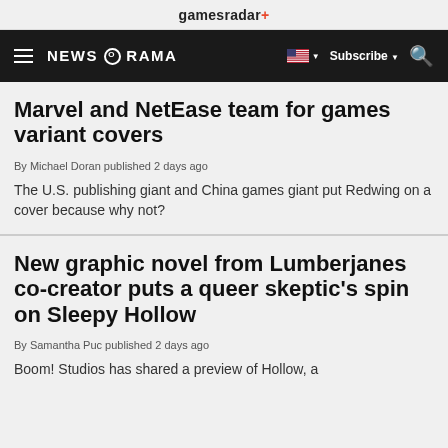gamesradar+
≡  NEWSARAMA  🇺🇸 ▾  Subscribe ▾  🔍
Marvel and NetEase team for games variant covers
By Michael Doran published 2 days ago
The U.S. publishing giant and China games giant put Redwing on a cover because why not?
New graphic novel from Lumberjanes co-creator puts a queer skeptic's spin on Sleepy Hollow
By Samantha Puc published 2 days ago
Boom! Studios has shared a preview of Hollow, a